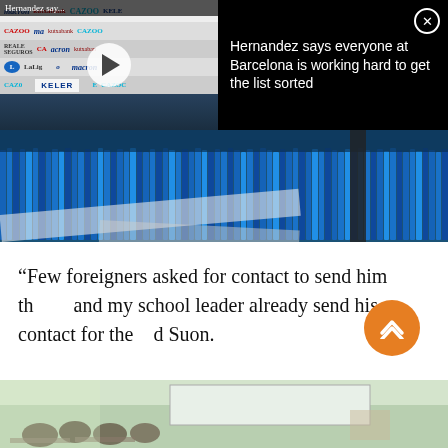[Figure (screenshot): Video thumbnail of a press conference with a man at a desk with sponsor logos (macron, kutxabank, CAZOO, KELER, LaLiga) visible in background. Play button overlay. Title bar reads 'Hernandez say...']
Hernandez says everyone at Barcelona is working hard to get the list sorted
[Figure (photo): Close-up photo of blue plastic brush bristles from a car wash machine]
“Few foreigners asked for contact to send him th… and my school leader already send his contact for the… d Suon.
[Figure (photo): Partial photo of a classroom with students sitting at desks]